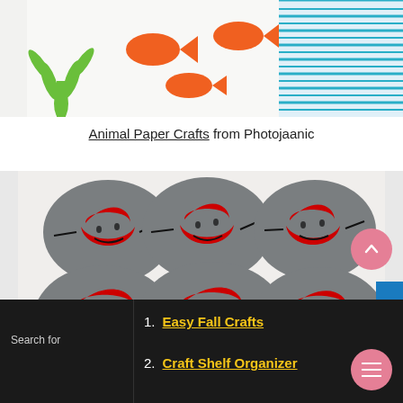[Figure (photo): Colorful animal paper cutouts on white background — green handprint tree, orange fish shapes, blue striped fish pattern]
Animal Paper Crafts from Photojaanic
[Figure (photo): Six gray river stones painted with red heart characters with faces, arms and legs — arranged in a 3x2 grid plus partial bottom row]
1. Easy Fall Crafts
2. Craft Shelf Organizer
Search for